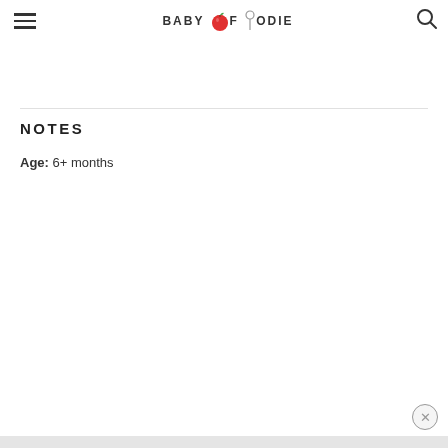BABY FOODIE
food processor. Add in the milk and purée for 1-2 minutes until smooth. Blend until desired consistency, adding more liquid if needed in 1⁄4 cup increments.
NOTES
Age: 6+ months